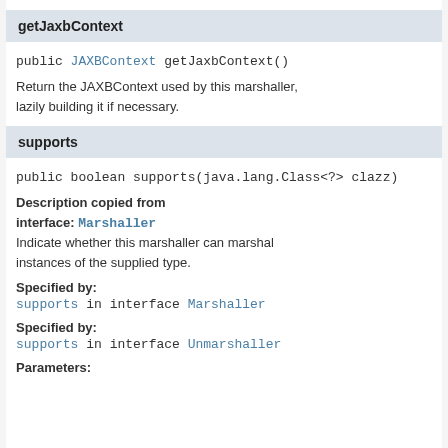getJaxbContext
public JAXBContext getJaxbContext()
Return the JAXBContext used by this marshaller, lazily building it if necessary.
supports
public boolean supports(java.lang.Class<?> clazz)
Description copied from interface: Marshaller
Indicate whether this marshaller can marshal instances of the supplied type.
Specified by:
supports in interface Marshaller
Specified by:
supports in interface Unmarshaller
Parameters: